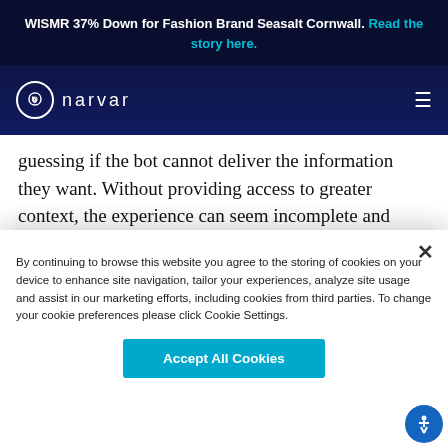WISMR 37% Down for Fashion Brand Seasalt Cornwall. Read the story here.
[Figure (logo): Narvar logo with circular icon and wordmark on dark navy background with hamburger menu]
guessing if the bot cannot deliver the information they want. Without providing access to greater context, the experience can seem incomplete and confusing to the user.
By continuing to browse this website you agree to the storing of cookies on your device to enhance site navigation, tailor your experiences, analyze site usage and assist in our marketing efforts, including cookies from third parties. To change your cookie preferences please click Cookie Settings.
Accept All Cookies